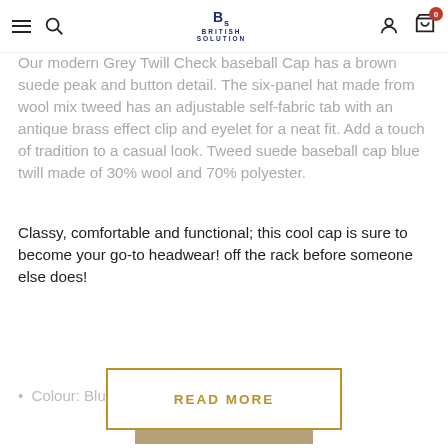British Solution navigation bar with hamburger menu, search, logo, account, and cart icons
Our modern Grey Twill Check baseball Cap has a brown suede peak and button detail. The six-panel hat made from wool mix tweed has an adjustable self-fabric tab with an antique brass effect clip and eyelet for a neat fit. Add a touch of tradition to a casual look. Tweed suede baseball cap blue twill made of 30% wool and 70% polyester.
Classy, comfortable and functional; this cool cap is sure to become your go-to headwear! off the rack before someone else does!
Colour: Blue
One Size - up to 61cm
SHIPPING + RETURNS